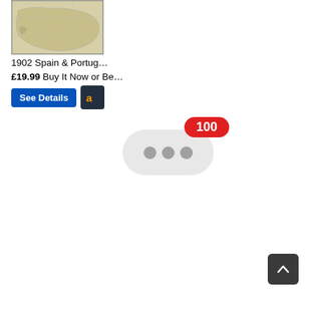[Figure (map): Partial thumbnail of a 1902 historical map of Spain and Portugal, showing coastlines, terrain and place names in muted beige/green tones with a light border.]
1902 Spain & Portug…
£19.99 Buy It Now or Be…
[Figure (screenshot): A blue 'See Details' button and an Amazon dark button side by side.]
[Figure (infographic): A light grey rounded pill-shaped typing indicator bubble containing three grey dots, with a red badge showing '100' in the upper right corner.]
[Figure (infographic): Dark grey square scroll-to-top button with a white upward arrow icon.]